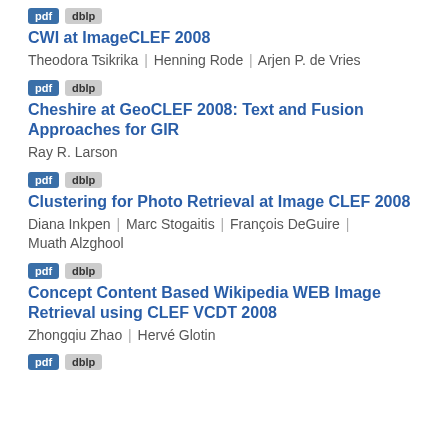pdf dblp
CWI at ImageCLEF 2008
Theodora Tsikrika | Henning Rode | Arjen P. de Vries
pdf dblp
Cheshire at GeoCLEF 2008: Text and Fusion Approaches for GIR
Ray R. Larson
pdf dblp
Clustering for Photo Retrieval at Image CLEF 2008
Diana Inkpen | Marc Stogaitis | François DeGuire | Muath Alzghool
pdf dblp
Concept Content Based Wikipedia WEB Image Retrieval using CLEF VCDT 2008
Zhongqiu Zhao | Hervé Glotin
pdf dblp